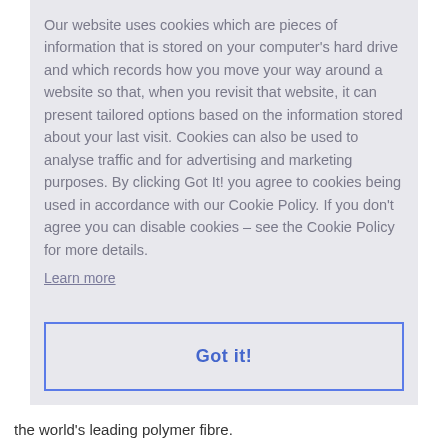Our website uses cookies which are pieces of information that is stored on your computer's hard drive and which records how you move your way around a website so that, when you revisit that website, it can present tailored options based on the information stored about your last visit. Cookies can also be used to analyse traffic and for advertising and marketing purposes. By clicking Got It! you agree to cookies being used in accordance with our Cookie Policy. If you don't agree you can disable cookies – see the Cookie Policy for more details.
Learn more
Got it!
the world's leading polymer fibre.